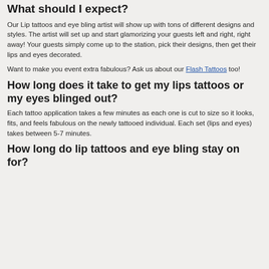What should I expect?
Our Lip tattoos and eye bling artist will show up with tons of different designs and styles. The artist will set up and start glamorizing your guests left and right, right away! Your guests simply come up to the station, pick their designs, then get their lips and eyes decorated.
Want to make you event extra fabulous? Ask us about our Flash Tattoos too!
How long does it take to get my lips tattoos or my eyes blinged out?
Each tattoo application takes a few minutes as each one is cut to size so it looks, fits, and feels fabulous on the newly tattooed individual. Each set (lips and eyes) takes between 5-7 minutes.
How long do lip tattoos and eye bling stay on for?